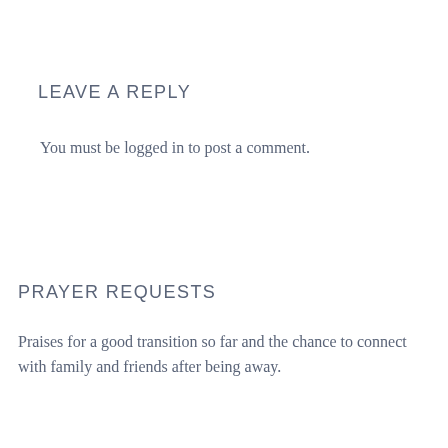LEAVE A REPLY
You must be logged in to post a comment.
PRAYER REQUESTS
Praises for a good transition so far and the chance to connect with family and friends after being away.